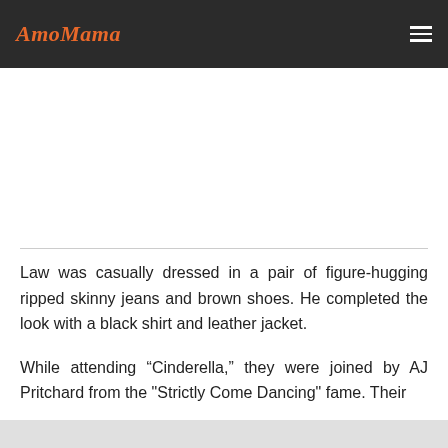AmoMama
Law was casually dressed in a pair of figure-hugging ripped skinny jeans and brown shoes. He completed the look with a black shirt and leather jacket.
While attending “Cinderella,” they were joined by AJ Pritchard from the "Strictly Come Dancing" fame. Their